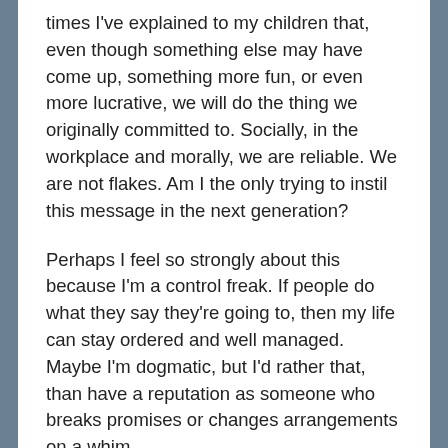times I've explained to my children that, even though something else may have come up, something more fun, or even more lucrative, we will do the thing we originally committed to. Socially, in the workplace and morally, we are reliable. We are not flakes. Am I the only trying to instil this message in the next generation?
Perhaps I feel so strongly about this because I'm a control freak. If people do what they say they're going to, then my life can stay ordered and well managed. Maybe I'm dogmatic, but I'd rather that, than have a reputation as someone who breaks promises or changes arrangements on a whim.
We all have those friends who are always late (rude—is your time so much more valuable than ours?) Some are inconsiderate...